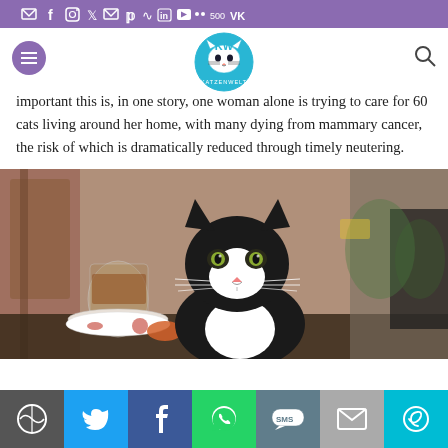Social media icons bar (email, facebook, instagram, twitter, mail, pinterest, rss, linkedin, youtube, social icons)
[Figure (logo): KW Katzenwelt cat logo in blue circle, hamburger menu button, search icon]
important this is, in one story, one woman alone is trying to care for 60 cats living around her home, with many dying from mammary cancer, the risk of which is dramatically reduced through timely neutering.
[Figure (photo): Black and white tuxedo cat sitting at a cafe table outdoors, with a glass of tea visible in the foreground]
Share bar with WordPress, Twitter, Facebook, WhatsApp, SMS, Email, and another icon buttons